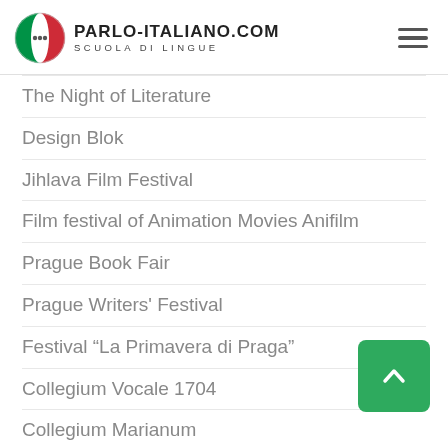PARLO-ITALIANO.COM SCUOLA DI LINGUE
The Night of Literature
Design Blok
Jihlava Film Festival
Film festival of Animation Movies Anifilm
Prague Book Fair
Prague Writers' Festival
Festival “La Primavera di Praga”
Collegium Vocale 1704
Collegium Marianum
Festival “Suoni sopra le città”